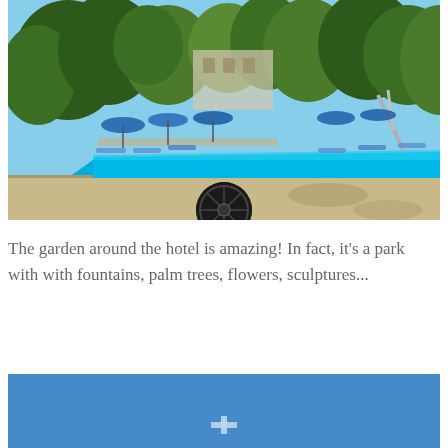[Figure (photo): Outdoor hotel swimming pool with bright blue water, surrounded by sun loungers with blue umbrellas, lush green trees and vegetation in the background, a water slide visible on the right side. Sunny summer day. A dark circular decorative element partially overlaps the bottom edge of the image.]
The garden around the hotel is amazing! In fact, it's a park with with fountains, palm trees, flowers, sculptures...
[Figure (photo): Bottom portion of a photo showing a solid blue sky or pool water background with a white icon/symbol partially visible at the bottom center.]